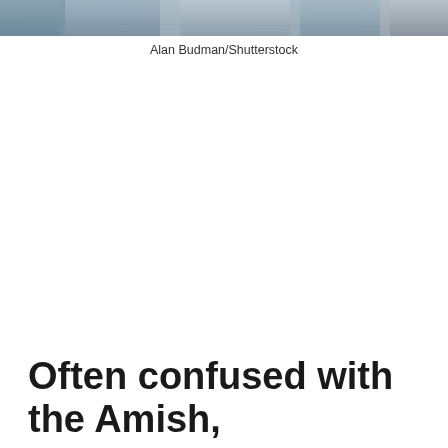[Figure (photo): Partial view of people at the top of the page, cropped photograph showing individuals in casual clothing]
Alan Budman/Shutterstock
Often confused with the Amish,